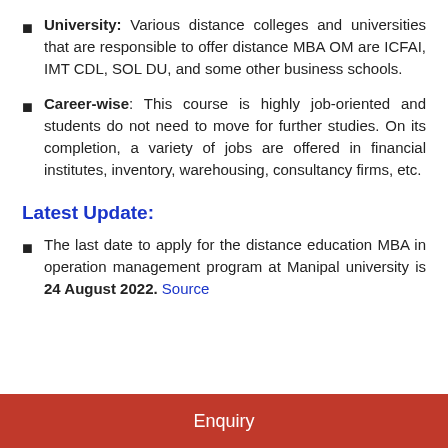University: Various distance colleges and universities that are responsible to offer distance MBA OM are ICFAI, IMT CDL, SOL DU, and some other business schools.
Career-wise: This course is highly job-oriented and students do not need to move for further studies. On its completion, a variety of jobs are offered in financial institutes, inventory, warehousing, consultancy firms, etc.
Latest Update:
The last date to apply for the distance education MBA in operation management program at Manipal university is 24 August 2022. Source
Enquiry